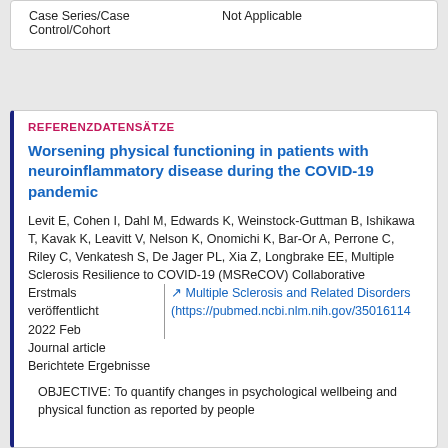|  |  |
| --- | --- |
| Case Series/Case Control/Cohort | Not Applicable |
REFERENZDATENSÄTZE
Worsening physical functioning in patients with neuroinflammatory disease during the COVID-19 pandemic
Levit E, Cohen I, Dahl M, Edwards K, Weinstock-Guttman B, Ishikawa T, Kavak K, Leavitt V, Nelson K, Onomichi K, Bar-Or A, Perrone C, Riley C, Venkatesh S, De Jager PL, Xia Z, Longbrake EE, Multiple Sclerosis Resilience to COVID-19 (MSReCOV) Collaborative
Erstmals veröffentlicht 2022 Feb
Multiple Sclerosis and Related Disorders (https://pubmed.ncbi.nlm.nih.gov/35016114
Journal article
Berichtete Ergebnisse
OBJECTIVE: To quantify changes in psychological wellbeing and physical function as reported by people